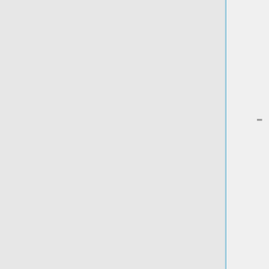Colditz]] ''August 23, 2010''
* [[Media:Workbreakdown for volCT-formatted.doc| Work Breakdown for Volumetric CT]] ''07.12.10''
* [[VolCT - Group 1A]] - Analyze Bias/Variance where Ground Truth is Known